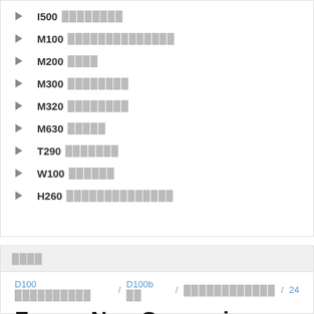I500 ████████
M100 ██████████████
M200 ████
M300 ████████
M320 ████████
M630 █████
T290 ███████
W100 ██████
H260 ██████████████
████
D100 ██████████ / D100b ██ / ████████████ / 24
Forum Non Conveniens
████████████████████ : ███████